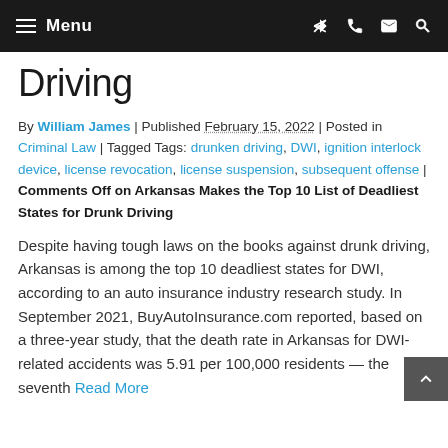Menu
Driving
By William James | Published February 15, 2022 | Posted in Criminal Law | Tagged Tags: drunken driving, DWI, ignition interlock device, license revocation, license suspension, subsequent offense | Comments Off on Arkansas Makes the Top 10 List of Deadliest States for Drunk Driving
Despite having tough laws on the books against drunk driving, Arkansas is among the top 10 deadliest states for DWI, according to an auto insurance industry research study. In September 2021, BuyAutoInsurance.com reported, based on a three-year study, that the death rate in Arkansas for DWI-related accidents was 5.91 per 100,000 residents — the seventh Read More